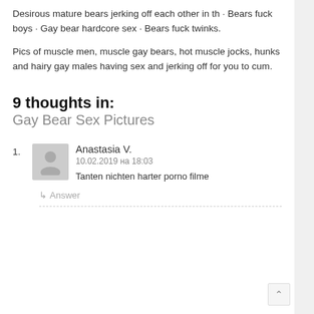Desirous mature bears jerking off each other in th · Bears fuck boys · Gay bear hardcore sex · Bears fuck twinks.
Pics of muscle men, muscle gay bears, hot muscle jocks, hunks and hairy gay males having sex and jerking off for you to cum.
9 thoughts in:
Gay Bear Sex Pictures
1. Anastasia V. — 10.02.2019 на 18:03 — Tanten nichten harter porno filme
↳ Answer